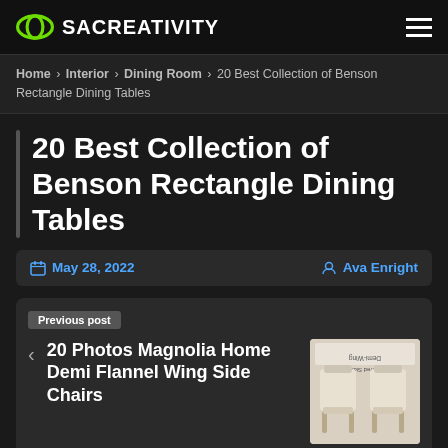SACREATIVITY
Home › Interior › Dining Room › 20 Best Collection of Benson Rectangle Dining Tables
20 Best Collection of Benson Rectangle Dining Tables
May 28, 2022  Ava Enright
Previous post
20 Photos Magnolia Home Demi Flannel Wing Side Chairs
[Figure (photo): Product image of Demi-Wing Upholstered Side Chair, shown upside-down, two beige/cream chairs with wooden legs]
20